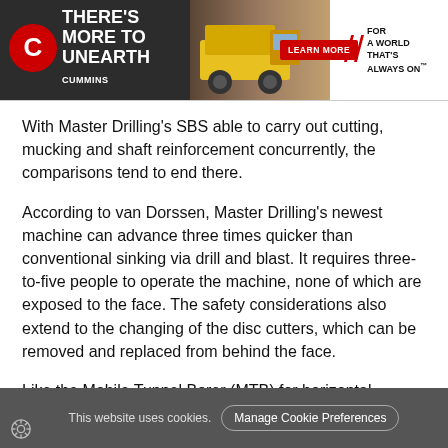[Figure (other): Cummins advertisement banner: 'There's More to Unearth' with a yellow mining haul truck, a red 'Learn More' button, and tagline 'For a World That's Always On']
With Master Drilling's SBS able to carry out cutting, mucking and shaft reinforcement concurrently, the comparisons tend to end there.
According to van Dorssen, Master Drilling's newest machine can advance three times quicker than conventional sinking via drill and blast. It requires three-to-five people to operate the machine, none of which are exposed to the face. The safety considerations also extend to the changing of the disc cutters, which can be removed and replaced from behind the face.
Like the Mobile Tunnel Borer (MTB) for horizontal
This website uses cookies.  Manage Cookie Preferences